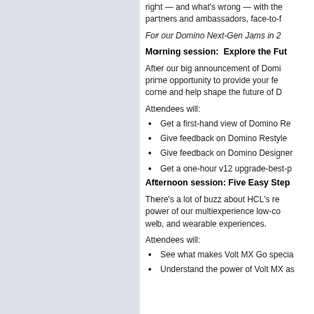[Figure (other): Light blue-grey decorative left panel]
right — and what's wrong — with the partners and ambassadors, face-to-f
For our Domino Next-Gen Jams in 2
Morning session:  Explore the Fut
After our big announcement of Domi prime opportunity to provide your fe come and help shape the future of D
Attendees will:
Get a first-hand view of Domino Re
Give feedback on Domino Restyle
Give feedback on Domino Designer
Get a one-hour v12 upgrade-best-p
Afternoon session: Five Easy Step
There's a lot of buzz about HCL's re power of our multiexperience low-co web, and wearable experiences.
Attendees will:
See what makes Volt MX Go specia
Understand the power of Volt MX as